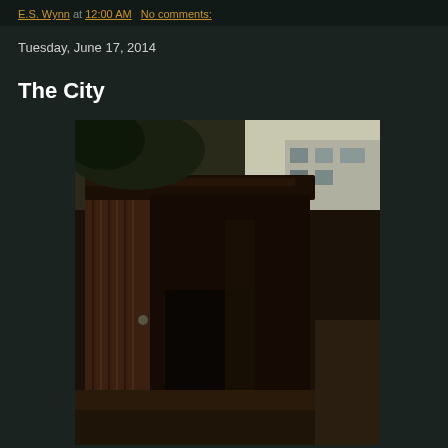E.S. Wynn at 12:00 AM   No comments:
Tuesday, June 17, 2014
The City
[Figure (photo): Photograph of a dilapidated outdoor structure made of corrugated metal and dark rusted panels, appearing to be a makeshift shed or outhouse, set against a background with trees and a white building.]